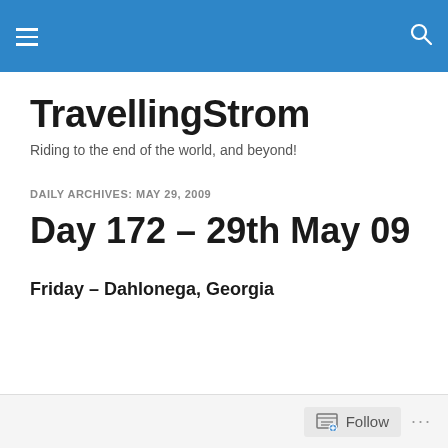TravellingStrom — navigation bar with hamburger menu and search icon
TravellingStrom
Riding to the end of the world, and beyond!
DAILY ARCHIVES: MAY 29, 2009
Day 172 – 29th May 09
Friday – Dahlonega, Georgia
Follow ...